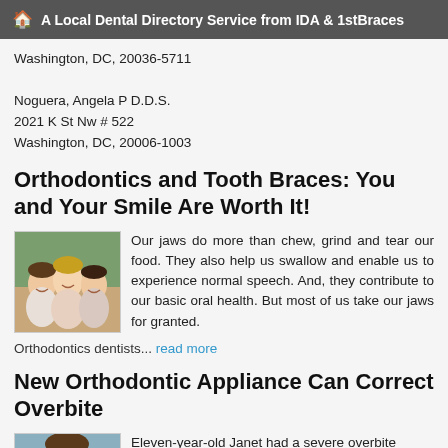🏠 A Local Dental Directory Service from IDA & 1stBraces
Washington, DC, 20036-5711

Noguera, Angela P D.D.S.
2021 K St Nw # 522
Washington, DC, 20006-1003
Orthodontics and Tooth Braces: You and Your Smile Are Worth It!
[Figure (photo): Three smiling girls posing together outdoors]
Our jaws do more than chew, grind and tear our food. They also help us swallow and enable us to experience normal speech. And, they contribute to our basic oral health. But most of us take our jaws for granted.
Orthodontics dentists... read more
New Orthodontic Appliance Can Correct Overbite
[Figure (photo): Person smiling, related to orthodontic article]
Eleven-year-old Janet had a severe overbite